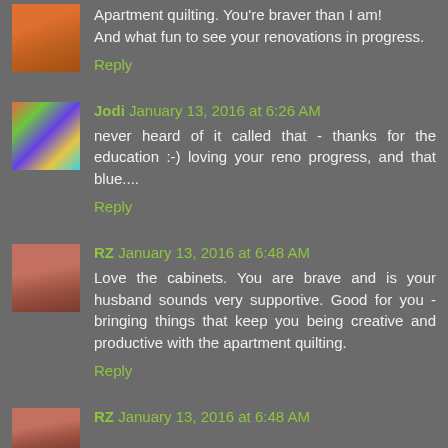Apartment quilting. You're braver than I am!
And what fun to see your renovations in progress.
Reply
Jodi January 13, 2016 at 6:26 AM
never heard of it called that - thanks for the education :-) loving your reno progress, and that blue....
Reply
RZ January 13, 2016 at 6:48 AM
Love the cabinets. You are brave and is your husband sounds very supportive. Good for you - bringing things that keep you being creative and productive with the apartment quilting.
Reply
RZ January 13, 2016 at 6:48 AM